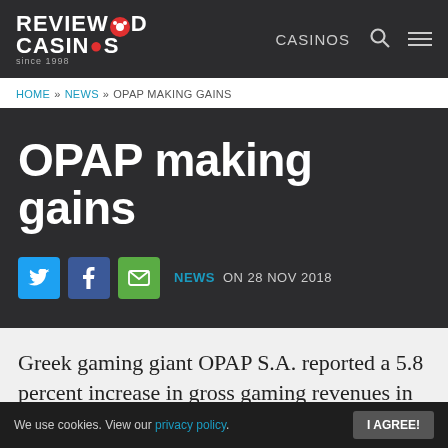REVIEWED CASINOS since 1998 | CASINOS
HOME » NEWS » OPAP MAKING GAINS
OPAP making gains
NEWS ON 28 NOV 2018
Greek gaming giant OPAP S.A. reported a 5.8 percent increase in gross gaming revenues in its consolidated financial results for t…
We use cookies. View our privacy policy. I AGREE!